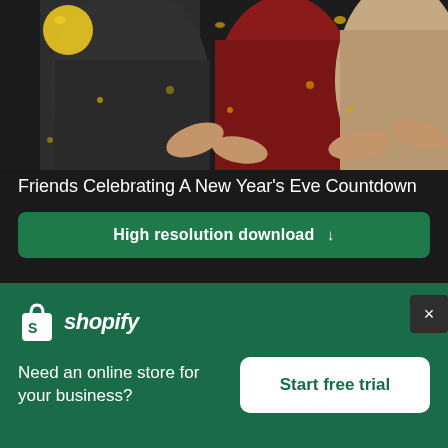[Figure (photo): People celebrating New Year's Eve, throwing confetti, partial view showing torsos and hands]
Friends Celebrating A New Year's Eve Countdown
High resolution download ↓
[Figure (photo): Row of pink gumball machines with yellow candy, woman in foreground wearing glasses, smiling]
×
[Figure (logo): Shopify logo - white shopping bag icon with S, followed by italic wordmark 'shopify']
Need an online store for your business?
Start free trial